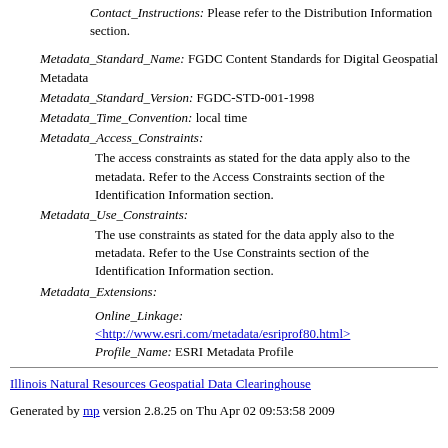Contact_Instructions: Please refer to the Distribution Information section.
Metadata_Standard_Name: FGDC Content Standards for Digital Geospatial Metadata
Metadata_Standard_Version: FGDC-STD-001-1998
Metadata_Time_Convention: local time
Metadata_Access_Constraints:
The access constraints as stated for the data apply also to the metadata. Refer to the Access Constraints section of the Identification Information section.
Metadata_Use_Constraints:
The use constraints as stated for the data apply also to the metadata. Refer to the Use Constraints section of the Identification Information section.
Metadata_Extensions:
Online_Linkage:
<http://www.esri.com/metadata/esriprof80.html>
Profile_Name: ESRI Metadata Profile
Illinois Natural Resources Geospatial Data Clearinghouse
Generated by mp version 2.8.25 on Thu Apr 02 09:53:58 2009